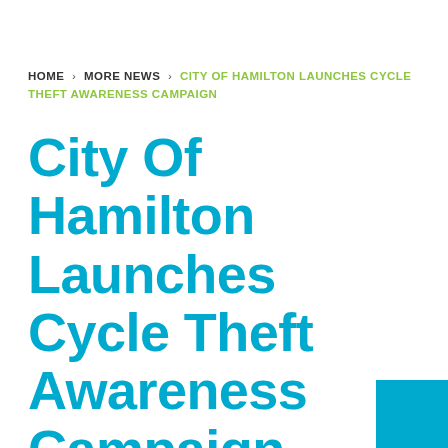HOME > MORE NEWS > CITY OF HAMILTON LAUNCHES CYCLE THEFT AWARENESS CAMPAIGN
City Of Hamilton Launches Cycle Theft Awareness Campaign